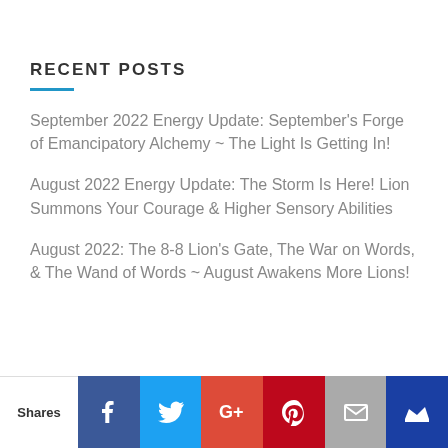RECENT POSTS
September 2022 Energy Update: September's Forge of Emancipatory Alchemy ~ The Light Is Getting In!
August 2022 Energy Update: The Storm Is Here! Lion Summons Your Courage & Higher Sensory Abilities
August 2022: The 8-8 Lion's Gate, The War on Words, & The Wand of Words ~ August Awakens More Lions!